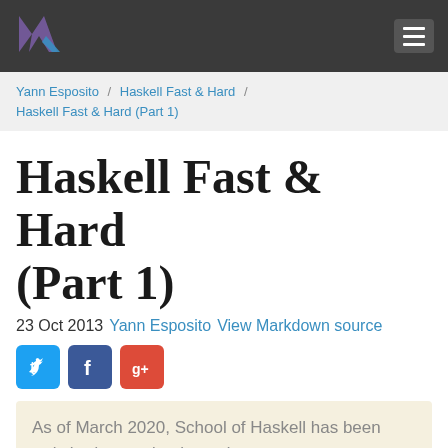Haskell Fast & Hard (Part 1) — navigation bar
Yann Esposito / Haskell Fast & Hard / Haskell Fast & Hard (Part 1)
Haskell Fast & Hard (Part 1)
23 Oct 2013 Yann Esposito View Markdown source
[Figure (other): Social share buttons: Twitter, Facebook, Google+]
As of March 2020, School of Haskell has been switched to read-only mode.
[Figure (other): Reddit vote widget with up/down arrows]
Next content: Haskell Fast & Hard (Part 2)
Go up to: Haskell Fast & Hard